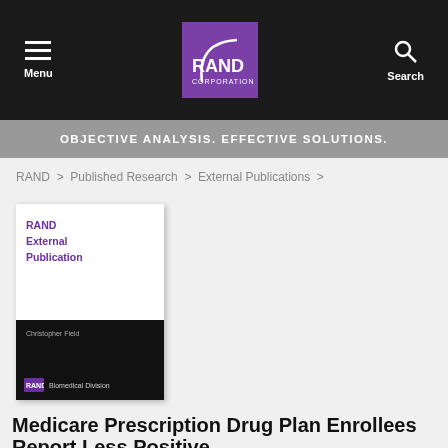Menu | RAND Corporation | Search
OBJECTIVE ANALYSIS. EFFECTIVE SOLUTIONS.
RAND > Published Research > External Publications >
[Figure (illustration): RAND External Publication book cover with purple text on white top half and black bottom half with author name Christopher Field and RAND logo]
Medicare Prescription Drug Plan Enrollees Report Less Positive